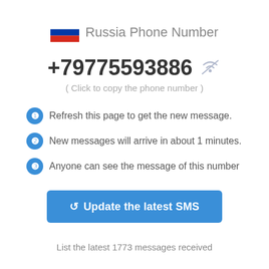Russia Phone Number
+79775593886
( Click to copy the phone number )
Refresh this page to get the new message.
New messages will arrive in about 1 minutes.
Anyone can see the message of this number
↺ Update the latest SMS
List the latest 1773 messages received